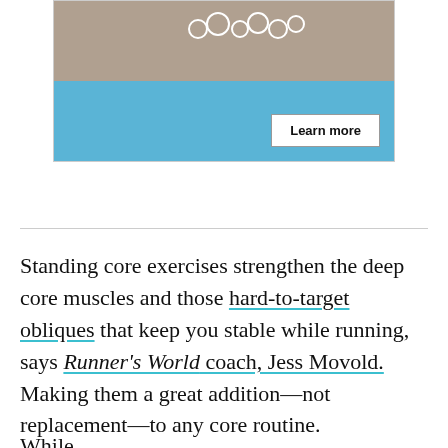[Figure (illustration): Advertisement block with photo of exercise equipment at top and blue background section below with a 'Learn more' button]
Standing core exercises strengthen the deep core muscles and those hard-to-target obliques that keep you stable while running, says Runner's World coach, Jess Movold. Making them a great addition—not replacement—to any core routine.
While...